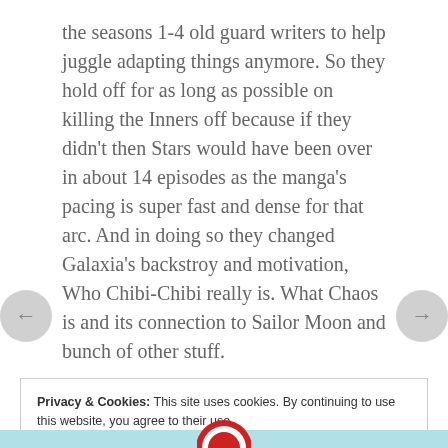the seasons 1-4 old guard writers to help juggle adapting things anymore. So they hold off for as long as possible on killing the Inners off because if they didn't then Stars would have been over in about 14 episodes as the manga's pacing is super fast and dense for that arc. And in doing so they changed Galaxia's backstroy and motivation, Who Chibi-Chibi really is. What Chaos is and its connection to Sailor Moon and bunch of other stuff.
★ Like
Privacy & Cookies: This site uses cookies. By continuing to use this website, you agree to their use. To find out more, including how to control cookies, see here: Cookie Policy
Close and accept